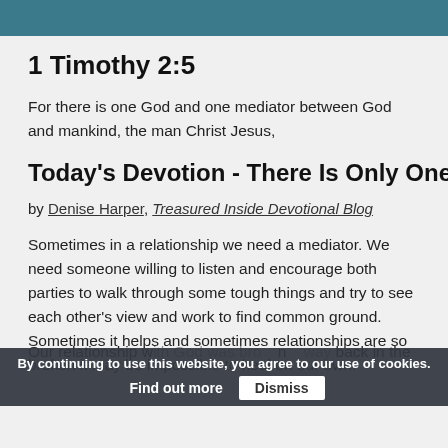[Figure (other): Teal/dark blue decorative banner image at top of page]
1 Timothy 2:5
For there is one God and one mediator between God and mankind, the man Christ Jesus,
Today's Devotion - There Is Only One
by Denise Harper, Treasured Inside Devotional Blog
Sometimes in a relationship we need a mediator. We need someone willing to listen and encourage both parties to walk through some tough things and try to see each other's view and work to find common ground. Sometimes it helps and sometimes relationships are so broken it may be impossible to heal on our own.
Our relationship with God was broken way back in the Garden. Enter Jesus. God sent us a Mediator to
By continuing to use this website, you agree to our use of cookies.